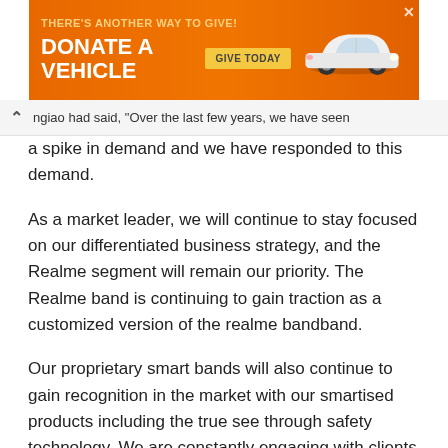[Figure (other): Orange advertisement banner reading 'THERE'S ANOTHER WAY TO GIVE! DONATE A VEHICLE GIVE TODAY' with a white car graphic on an orange background]
ngiao had said, "Over the last few years, we have seen a spike in demand and we have responded to this demand.
As a market leader, we will continue to stay focused on our differentiated business strategy, and the Realme segment will remain our priority. The Realme band is continuing to gain traction as a customized version of the realme bandband.
Our proprietary smart bands will also continue to gain recognition in the market with our smartised products including the true see through safety technology. We are constantly engaging with clients across the market, to ensure we fulfill our promise of innovation at every step of the way, so that we can continue to innovate for the